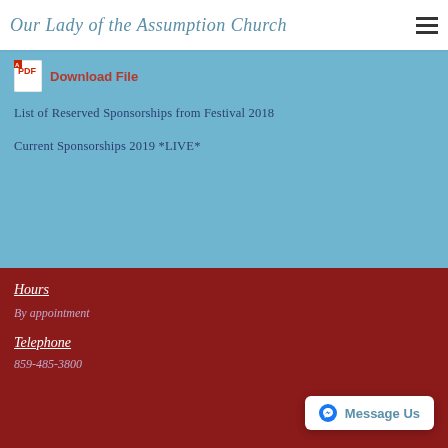Our Lady of the Assumption Church
Download File
List of Reserved Sponsorships from Festival 2018
Current Sponsorships 2019  *LIVE*
Hours
By appointment
Telephone
859-485-3800